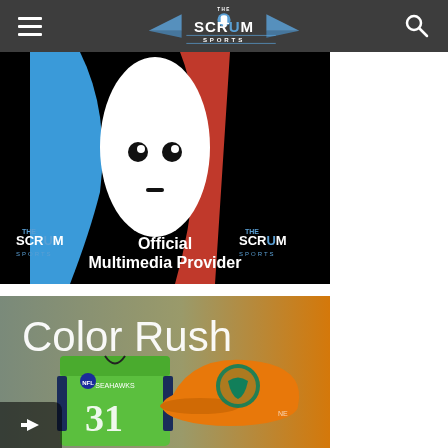The Scrum Sports
[Figure (illustration): The Scrum Sports Official Multimedia Provider promotional image with blue, red and white abstract design on black background featuring two Scrum Sports logos]
[Figure (illustration): Color Rush NFL promotional image showing a green Seattle Seahawks jersey (#31) and an orange Miami Dolphins cap]